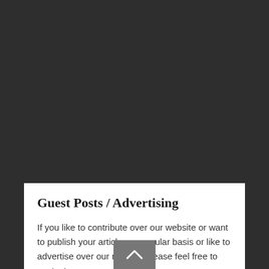Guest Posts / Advertising
If you like to contribute over our website or want to publish your articles on regular basis or like to advertise over our network please feel free to contact us on: